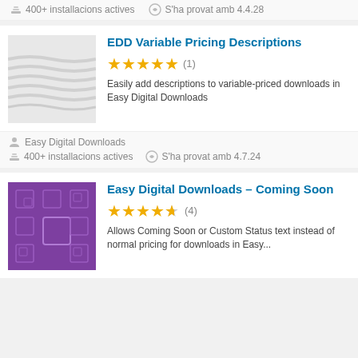400+ installacions actives   S'ha provat amb 4.4.28
EDD Variable Pricing Descriptions
★★★★★ (1)
Easily add descriptions to variable-priced downloads in Easy Digital Downloads
Easy Digital Downloads
400+ installacions actives   S'ha provat amb 4.7.24
Easy Digital Downloads – Coming Soon
★★★★½ (4)
Allows Coming Soon or Custom Status text instead of normal pricing for downloads in Easy...